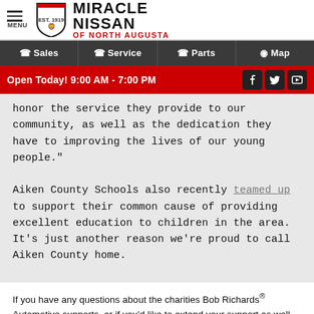[Figure (logo): Miracle Nissan of North Augusta logo with shield emblem, menu icon]
Sales | Service | Parts | Map
Open Today! 9:00 AM - 7:00 PM
honor the service they provide to our community, as well as the dedication they have to improving the lives of our young people."

Aiken County Schools also recently teamed up to support their common cause of providing excellent education to children in the area. It's just another reason we're proud to call Aiken County home.
If you have any questions about the charities Bob Richards® Automotive supports, or if you'd like to extend your support as well, please don't hesitate to stop by and see us. We are conveniently located at 5590 Jefferson Davis Hwy, Beech...